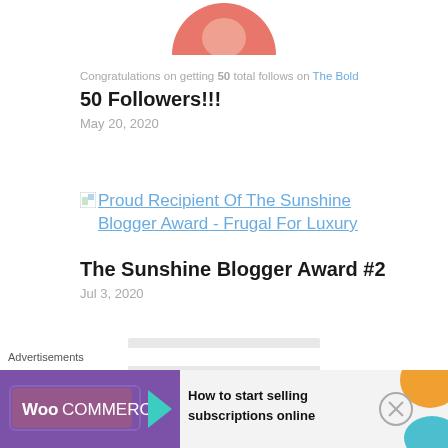[Figure (illustration): Partial view of a circular avatar with salmon/coral color, cropped at top of page]
Congratulations on getting 50 total follows on The Bold
50 Followers!!!
May 20, 2020
[Figure (illustration): Small image placeholder icon for Sunshine Blogger Award post]
Proud Recipient Of The Sunshine Blogger Award - Frugal For Luxury
The Sunshine Blogger Award #2
Jul 3, 2020
Blogging Journey
How I started My Blog
Advertisements
[Figure (illustration): WooCommerce advertisement banner: purple background with WooCommerce logo, teal arrow, text 'How to start selling subscriptions online', orange and teal decorative shapes]